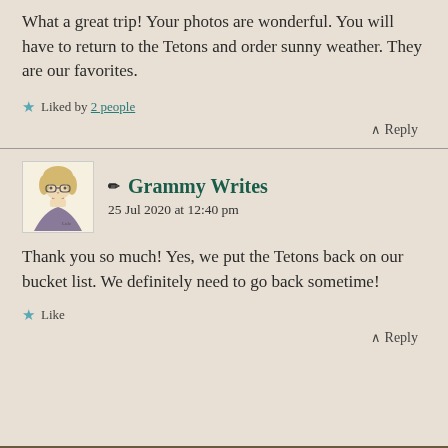What a great trip! Your photos are wonderful. You will have to return to the Tetons and order sunny weather. They are our favorites.
Liked by 2 people
↑ Reply
Grammy Writes — 25 Jul 2020 at 12:40 pm
Thank you so much! Yes, we put the Tetons back on our bucket list. We definitely need to go back sometime!
Like
↑ Reply